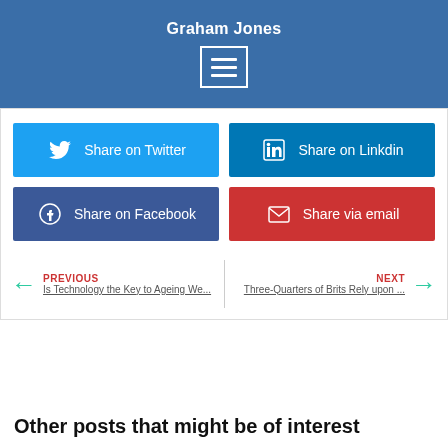Graham Jones
[Figure (other): Menu icon (three horizontal lines in a white rectangle border) in blue header bar]
[Figure (infographic): Four social share buttons: Share on Twitter (light blue), Share on Linkdin (dark blue), Share on Facebook (navy blue), Share via email (red)]
PREVIOUS
Is Technology the Key to Ageing We...
NEXT
Three-Quarters of Brits Rely upon ...
Other posts that might be of interest